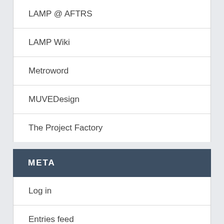LAMP @ AFTRS
LAMP Wiki
Metroword
MUVEDesign
The Project Factory
META
Log in
Entries feed
Comments feed